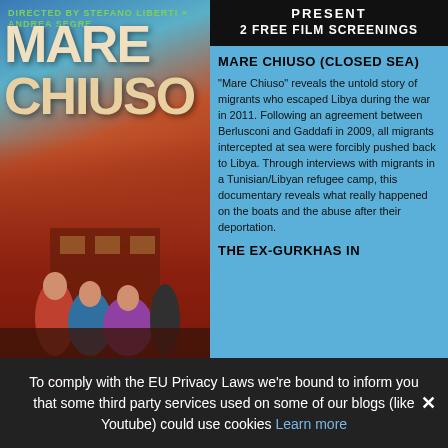[Figure (photo): Movie poster for 'Mare Chiuso' showing colorful figures in front of a red building with teal sky background. Title text 'MARE CHIUSO' in large letters.]
PRESENT
2 FREE FILM SCREENINGS
MARE CHIUSO (CLOSED SEA)
"Mare Chiuso" reveals the untold story of migrants who escaped Libya during the war in 2011. Following an agreement between Berlusconi and Gaddafi in 2009, all migrants intercepted at sea were forcibly pushed back to Libya. Through interviews with migrants in a Tunisian/Libyan refugee camp, this documentary reveals what really happened on the boats and the abuse after their deportation.
THE EX-GURKHAS IN
To comply with the EU Privacy Laws we're bound to inform you that some third party services used on some of our blogs (like Youtube) could use cookies Learn more